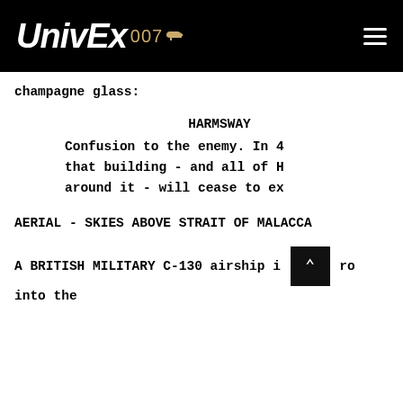UnivEx 007
champagne glass:
HARMSWAY
Confusion to the enemy. In 4… that building - and all of H… around it - will cease to ex…
AERIAL - SKIES ABOVE STRAIT OF MALACCA
A BRITISH MILITARY C-130 airship i…ro… into the